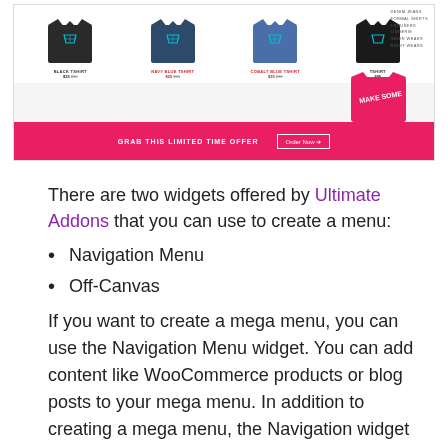[Figure (screenshot): Screenshot of a WooCommerce-style online store showing t-shirt product listings (Black Tshirt, Navy Blue Tshirt, Cobalt Blue Tshirt, and a black tshirt) with prices like $25 $30, a sidebar navigation with categories (Denim Jeans, Formal Shirts, Trousers, Lingerie, Inner Wears, Night Wears), a partially visible red t-shirt, and a pink/red promotional banner at the bottom reading 'GRAB THIS LIMITED TIME OFFER' with an 'Order Now' button.]
There are two widgets offered by Ultimate Addons that you can use to create a menu:
Navigation Menu
Off-Canvas
If you want to create a mega menu, you can use the Navigation Menu widget. You can add content like WooCommerce products or blog posts to your mega menu. In addition to creating a mega menu, the Navigation widget can also be used to create a fly-out and expanded menu. Meanwhile, the Off-Canvas